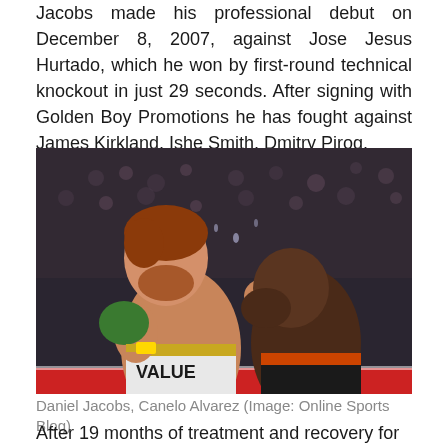Jacobs made his professional debut on December 8, 2007, against Jose Jesus Hurtado, which he won by first-round technical knockout in just 29 seconds. After signing with Golden Boy Promotions he has fought against James Kirkland, Ishe Smith, Dmitry Pirog.
[Figure (photo): Two boxers in a ring mid-fight. The boxer on the left (Canelo Alvarez, with red/auburn hair and beard) wearing green gloves labeled 'Canelo', punching the boxer on the right (Daniel Jacobs) who is wearing black and orange shorts. The left boxer's shorts are labeled 'VALUE'. Arena crowd visible in background.]
Daniel Jacobs, Canelo Alvarez (Image: Online Sports Blog)
After 19 months of treatment and recovery for